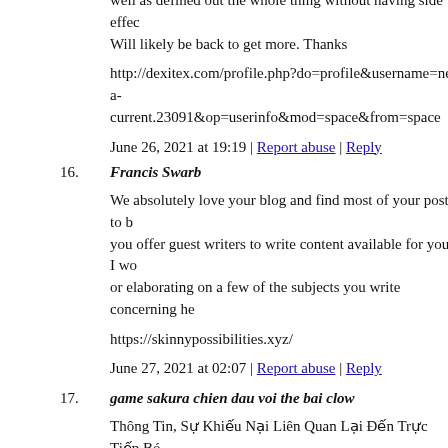well as defined out the whole thing without having side effect. Will likely be back to get more. Thanks
http://dexitex.com/profile.php?do=profile&username=neva-current.23091&op=userinfo&mod=space&from=space
June 26, 2021 at 19:19 | Report abuse | Reply
16. Francis Swarb
We absolutely love your blog and find most of your post's to be you offer guest writers to write content available for you? I wo or elaborating on a few of the subjects you write concerning he
https://skinnypossibilities.xyz/
June 27, 2021 at 02:07 | Report abuse | Reply
17. game sakura chien dau voi the bai clow
Thông Tin, Sự Khiếu Nại Liên Quan Lại Đến Trực Tiếp Bó chọn futsal Việt Nam đã được một trận đấu đồng ý được tr mức độ mạnh Lebanon. Kết trái Bà Rịa-Vũng Tàu vs Bình Ph ngày 5/5, Hạng nhất Việt Nam.
https://transeunte.org/
June 27, 2021 at 03:35 | Report abuse | Reply